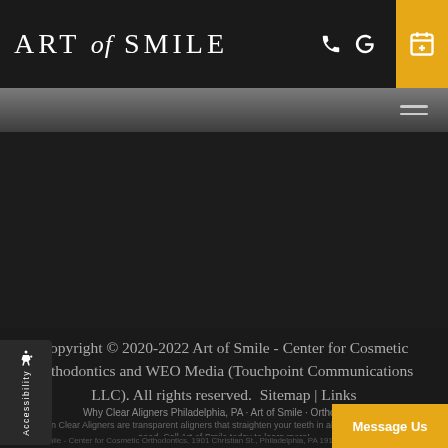ART of SMILE
[Figure (screenshot): Navigation bar with hamburger menu icon on gray gradient background]
Copyright © 2020-2022 Art of Smile - Center for Cosmetic Orthodontics and WEO Media (Touchpoint Communications LLC). All rights reserved.  Sitemap | Links
Why Clear Aligners Philadelphia, PA · Art of Smile · Orthodontist
Invisalign Clear Aligners are transparent aligners that straighten your teeth in about half the time braces need. Call Art of Smile today to learn more!
Art of Smile - Center for Cosmetic Orthodontics, 1901 Christian St., Philadelphia, PA 19146-1834 \ (267) 703-7877 \ artofsmilephiladelphia.com \ 8/17/2022 \ Related Terms: orthodontist Philadelphia Pa \